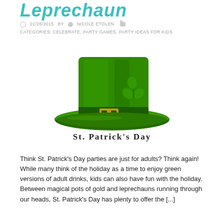Leprechaun
01/26/2015   BY   NICOLE ETOLEN     CATEGORIES: CELEBRATE, PARTY GAMES, PARTY IDEAS FOR KIDS
[Figure (illustration): A green leprechaun top hat with a gold buckle and a shamrock/clover decoration, with text 'St. Patrick's Day' below in decorative serif font.]
Think St. Patrick's Day parties are just for adults? Think again! While many think of the holiday as a time to enjoy green versions of adult drinks, kids can also have fun with the holiday.  Between magical pots of gold and leprechauns running through our heads, St. Patrick's Day has plenty to offer the [...]